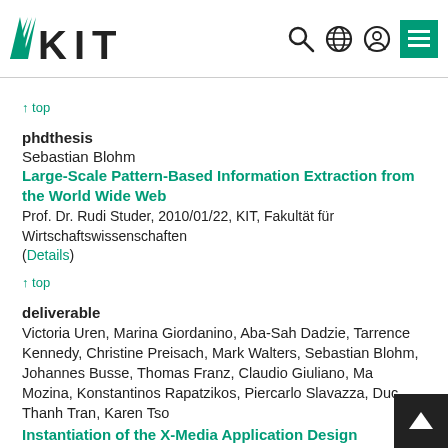KIT logo and navigation icons
↑ top
phdthesis
Sebastian Blohm
Large-Scale Pattern-Based Information Extraction from the World Wide Web
Prof. Dr. Rudi Studer, 2010/01/22, KIT, Fakultät für Wirtschaftswissenschaften
(Details)
↑ top
deliverable
Victoria Uren, Marina Giordanino, Aba-Sah Dadzie, Tarrence Kennedy, Christine Preisach, Mark Walters, Sebastian Blohm, Johannes Busse, Thomas Franz, Claudio Giuliano, Ma Mozina, Konstantinos Rapatzikos, Piercarlo Slavazza, Duc Thanh Tran, Karen Tso
Instantiation of the X-Media Application Design Methodology,